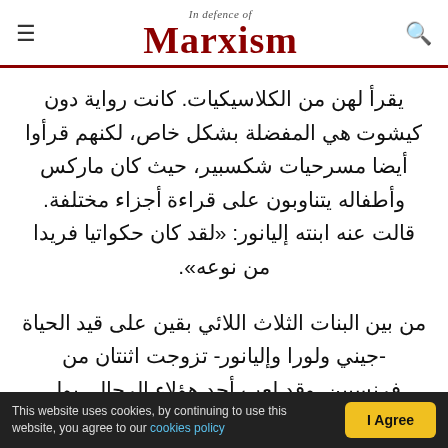In Defence of Marxism
يقرأ لهن من الكلاسيكيات. كانت رواية دون كيشوت هي المفضلة بشكل خاص، لكنهم قرأوا أيضا مسرحيات شكسبير، حيث كان ماركس وأطفاله يتناوبون على قراءة أجزاء مختلفة. قالت عنه ابنته إليانور: «لقد كان حكواتيا فريدا من نوعه».
من بين البنات الثلاث اللائي بقين على قيد الحياة -جيني ولورا وإليانور- تزوجت اثنتان من فرنسيين. وقد لعب أحد هؤلاء الرجال، بول لافارج، دورا نشيطاً في الحركة الماركسية وساعد في تأسيس الحزب الاشتراكي في إسبانيا. كانت إليانور ماركس نشيطة في الحركة العمالية البريطانية كمنظمة عمالية
This website uses cookies, by continuing to use this website, you agree to our cookies policy